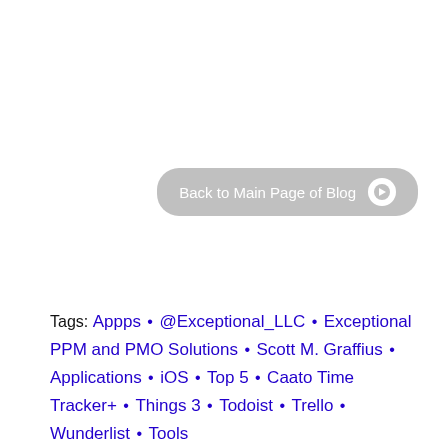[Figure (other): Gray rounded button labeled 'Back to Main Page of Blog' with a white circle arrow icon on the right]
Tags: Appps • @Exceptional_LLC • Exceptional PPM and PMO Solutions • Scott M. Graffius • Applications • iOS • Top 5 • Caato Time Tracker+ • Things 3 • Todoist • Trello • Wunderlist • Tools